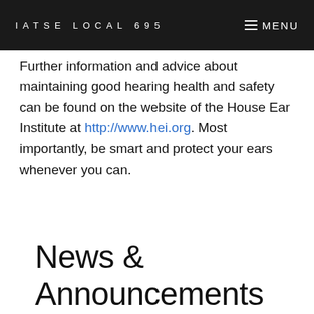IATSE LOCAL 695   MENU
Further information and advice about maintaining good hearing health and safety can be found on the website of the House Ear Institute at http://www.hei.org. Most importantly, be smart and protect your ears whenever you can.
News & Announcements